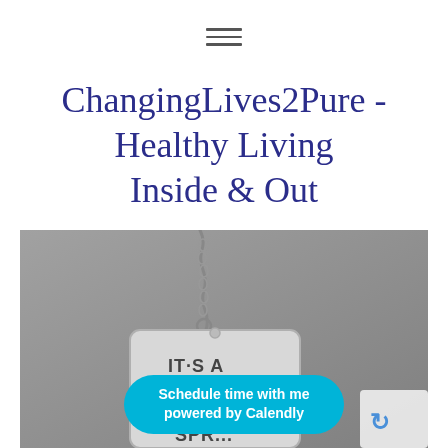[Figure (other): Hamburger menu icon (three horizontal lines)]
ChangingLives2Pure - Healthy Living Inside & Out
[Figure (photo): Black and white photo of a metal dog tag necklace engraved with IT'S A MARATHON NOT A SPRINT on a gray textured background]
Schedule time with me powered by Calendly